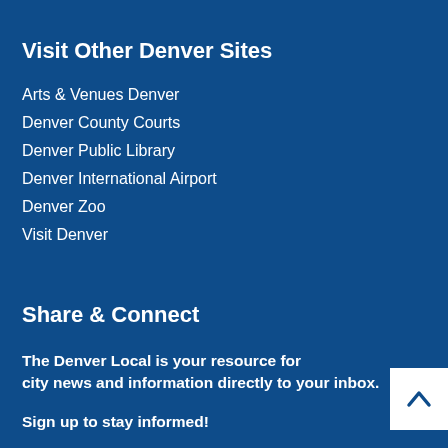Visit Other Denver Sites
Arts & Venues Denver
Denver County Courts
Denver Public Library
Denver International Airport
Denver Zoo
Visit Denver
Share & Connect
The Denver Local is your resource for city news and information directly to your inbox.
Sign up to stay informed!